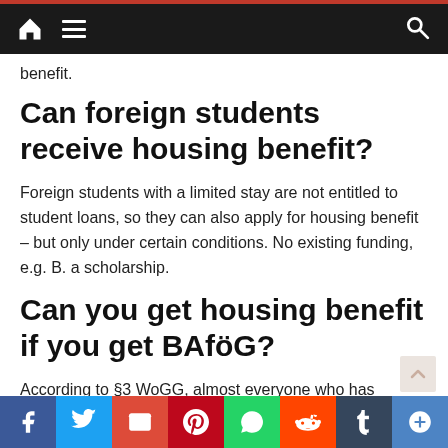Navigation bar with home, menu, and search icons
benefit.
Can foreign students receive housing benefit?
Foreign students with a limited stay are not entitled to student loans, so they can also apply for housing benefit – but only under certain conditions. No existing funding, e.g. B. a scholarship.
Can you get housing benefit if you get BAföG?
According to §3 WoGG, almost everyone who has ... entitled to apply for housing benefit. In principle, however, all students and